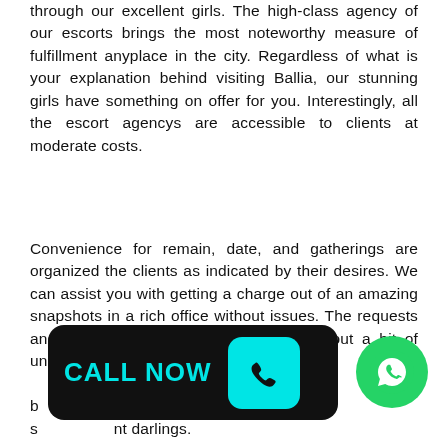through our excellent girls. The high-class agency of our escorts brings the most noteworthy measure of fulfillment anyplace in the city. Regardless of what is your explanation behind visiting Ballia, our stunning girls have something on offer for you. Interestingly, all the escort agencys are accessible to clients at moderate costs.
Convenience for remain, date, and gatherings are organized the clients as indicated by their desires. We can assist you with getting a charge out of an amazing snapshots in a rich office without issues. The requests and desires are satisfied for clients without a bit of uncertainty. Our Call Girl Service In Ballia has been a well known decision for the seeking nt darlings.
[Figure (other): CALL NOW button with phone icon, black background with cyan text and phone icon, WhatsApp green circle icon]